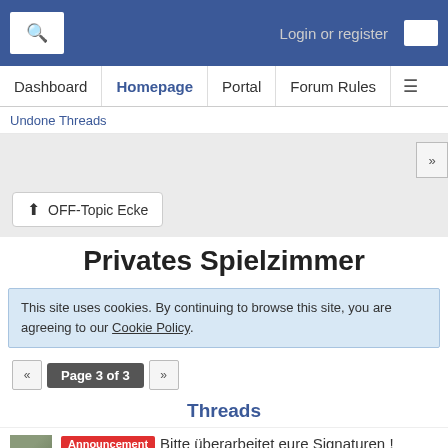Login or register
Dashboard  Homepage  Portal  Forum Rules
Undone Threads
OFF-Topic Ecke
Privates Spielzimmer
This site uses cookies. By continuing to browse this site, you are agreeing to our Cookie Policy.
Page 3 of 3
Threads
Announcement  Bitte überarbeitet eure Signaturen !  Texaco - Apr 5th 2015, 10:42pm
Announcement  Videos von mir nur noch auf diesem